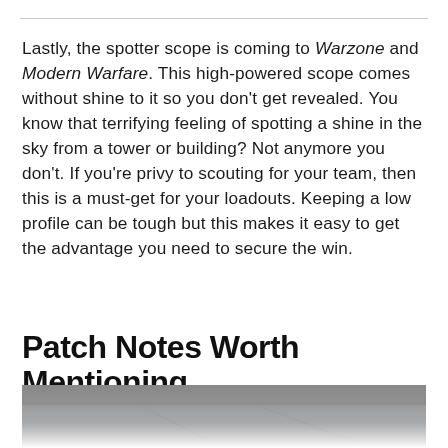Lastly, the spotter scope is coming to Warzone and Modern Warfare. This high-powered scope comes without shine to it so you don't get revealed. You know that terrifying feeling of spotting a shine in the sky from a tower or building? Not anymore you don't. If you're privy to scouting for your team, then this is a must-get for your loadouts. Keeping a low profile can be tough but this makes it easy to get the advantage you need to secure the win.
Patch Notes Worth Mentioning
[Figure (photo): A partially visible action/combat game screenshot showing a scene with light and structures, fading at the bottom]